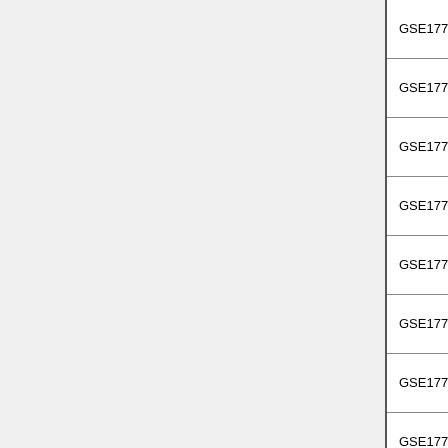| GSE17721_PAM3CSK4_VS_CPG_8H_BMDM_... |
| GSE17721_PAM3CSK4_VS_CPG_8H_BMDM_... |
| GSE17721_PAM3CSK4_VS_GADIQUIMOD_0.5... |
| GSE17721_PAM3CSK4_VS_GADIQUIMOD_0.5... |
| GSE17721_PAM3CSK4_VS_GADIQUIMOD_12... |
| GSE17721_PAM3CSK4_VS_GADIQUIMOD_12... |
| GSE17721_PAM3CSK4_VS_GADIQUIMOD_16... |
| GSE17721_PAM3CSK4_VS_GADIQUIMOD_16... |
| GSE17721_PAM3CSK4_VS_GADIQUIMOD_1H... |
| GSE17721_PAM3CSK4_VS_GADIQUIMOD_1H... |